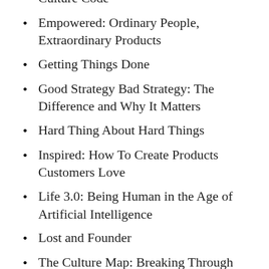Culture Code
Empowered: Ordinary People, Extraordinary Products
Getting Things Done
Good Strategy Bad Strategy: The Difference and Why It Matters
Hard Thing About Hard Things
Inspired: How To Create Products Customers Love
Life 3.0: Being Human in the Age of Artificial Intelligence
Lost and Founder
The Culture Map: Breaking Through the Boundaries of Global Business